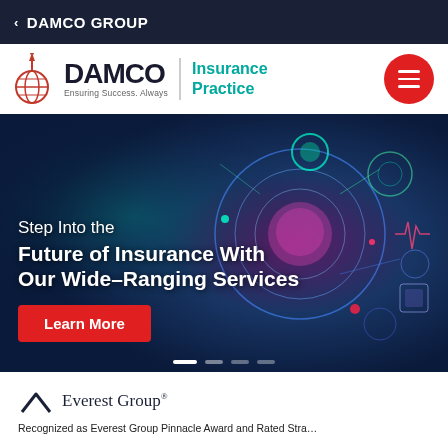< DAMCO GROUP
[Figure (logo): DAMCO logo with globe icon and spike, tagline 'Ensuring Success. Always', with 'Insurance Practice' text in teal and a red hamburger menu button]
[Figure (photo): Hero banner with dark blue/purple background featuring glowing AI brain and tech icons. Text overlay: 'Step Into the Future of Insurance With Our Wide-Ranging Services' with a red 'Learn More' button and carousel dots]
[Figure (logo): Everest Group logo with chevron/mountain icon]